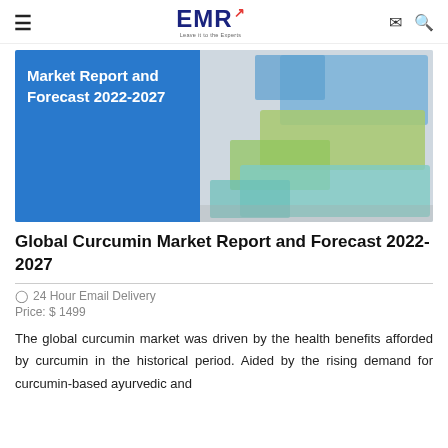EMR - Leave it to the Experts
[Figure (photo): Market Report and Forecast 2022-2027 banner with blue left panel showing text and right panel showing photos of supplements and herbs]
Global Curcumin Market Report and Forecast 2022-2027
24 Hour Email Delivery
Price: $ 1499
The global curcumin market was driven by the health benefits afforded by curcumin in the historical period. Aided by the rising demand for curcumin-based ayurvedic and